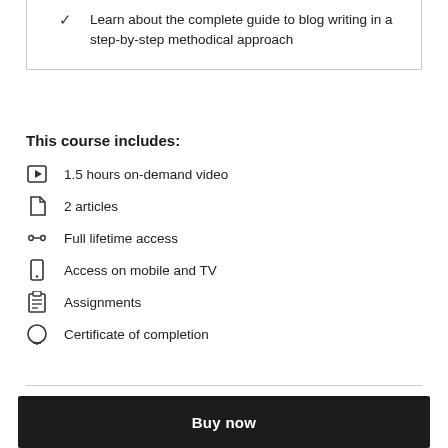Learn about the complete guide to blog writing in a step-by-step methodical approach
This course includes:
1.5 hours on-demand video
2 articles
Full lifetime access
Access on mobile and TV
Assignments
Certificate of completion
Buy now